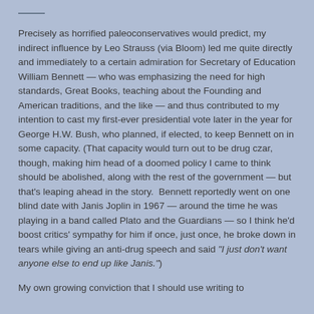—
Precisely as horrified paleoconservatives would predict, my indirect influence by Leo Strauss (via Bloom) led me quite directly and immediately to a certain admiration for Secretary of Education William Bennett — who was emphasizing the need for high standards, Great Books, teaching about the Founding and American traditions, and the like — and thus contributed to my intention to cast my first-ever presidential vote later in the year for George H.W. Bush, who planned, if elected, to keep Bennett on in some capacity. (That capacity would turn out to be drug czar, though, making him head of a doomed policy I came to think should be abolished, along with the rest of the government — but that's leaping ahead in the story.  Bennett reportedly went on one blind date with Janis Joplin in 1967 — around the time he was playing in a band called Plato and the Guardians — so I think he'd boost critics' sympathy for him if once, just once, he broke down in tears while giving an anti-drug speech and said "I just don't want anyone else to end up like Janis.")
My own growing conviction that I should use writing to